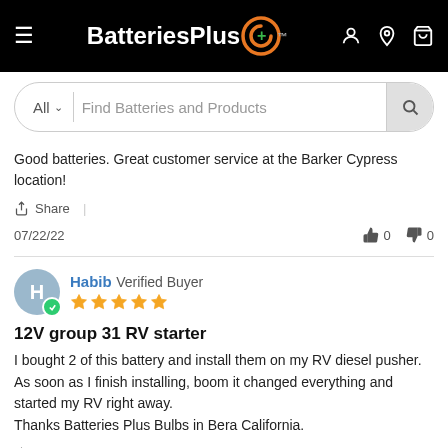BatteriesPlus+
Find Batteries and Products
Good batteries. Great customer service at the Barker Cypress location!
Share
07/22/22  👍 0  👎 0
Habib Verified Buyer
12V group 31 RV starter
I bought 2 of this battery and install them on my RV diesel pusher. As soon as I finish installing, boom it changed everything and started my RV right away.
Thanks Batteries Plus Bulbs in Bera California.
Share